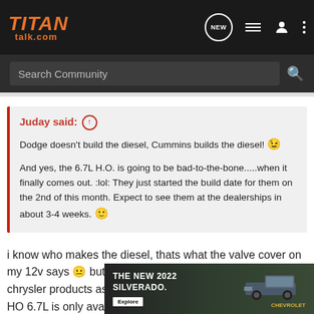TITANtalk.com
Search Community
Juday said: ↑
Dodge doesn't build the diesel, Cummins builds the diesel! 😉

And yes, the 6.7L H.O. is going to be bad-to-the-bone.....when it finally comes out. :lol: They just started the build date for them on the 2nd of this month. Expect to see them at the dealerships in about 3-4 weeks. 🙂
i know who makes the diesel, thats what the valve cover on my 12v says 😐 but last time i checked, cummins is only in chrysler products as far as the automobile industry goes. the HO 6.7L is only available in 3500 dew with automatics
[Figure (screenshot): Advertisement for The New 2022 Silverado by Chevrolet, showing a dark truck in a field with Explore button]